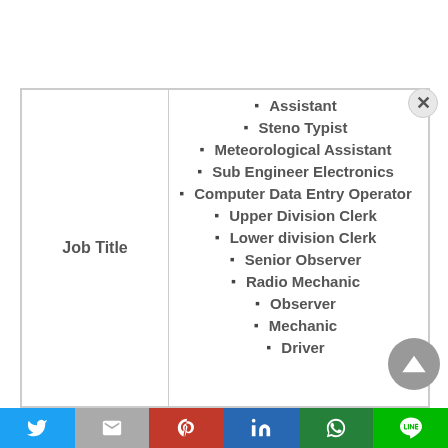| Job Title |  |
| --- | --- |
|  | Assistant |
|  | Steno Typist |
|  | Meteorological Assistant |
|  | Sub Engineer Electronics |
|  | Computer Data Entry Operator |
|  | Upper Division Clerk |
|  | Lower division Clerk |
|  | Senior Observer |
|  | Radio Mechanic |
|  | Observer |
|  | Mechanic |
|  | Driver |
|  | Mali Guard |